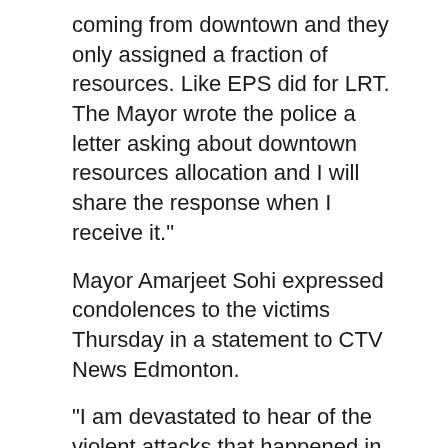coming from downtown and they only assigned a fraction of resources. Like EPS did for LRT. The Mayor wrote the police a letter asking about downtown resources allocation and I will share the response when I receive it."
Mayor Amarjeet Sohi expressed condolences to the victims Thursday in a statement to CTV News Edmonton.
"I am devastated to hear of the violent attacks that happened in Edmonton's Chinatown last night, leaving two valued community members dead," he wrote.
"I have heard Chinatown's calls for increased safety measures, and will be working with the community and EPS to find immediate